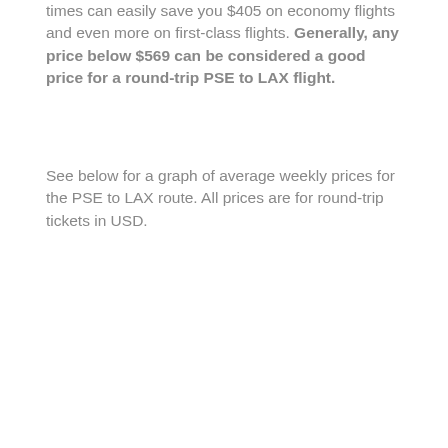times can easily save you $405 on economy flights and even more on first-class flights. Generally, any price below $569 can be considered a good price for a round-trip PSE to LAX flight.
See below for a graph of average weekly prices for the PSE to LAX route. All prices are for round-trip tickets in USD.